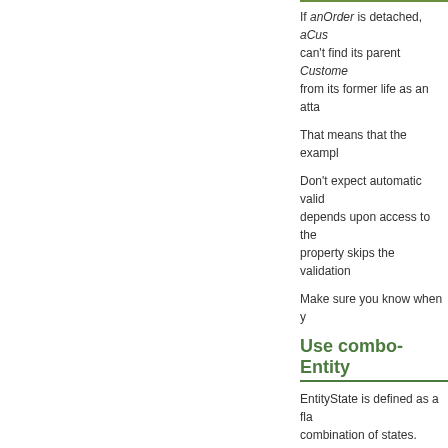If anOrder is detached, aCus can't find its parent Custome from its former life as an atta
That means that the exampl
Don't expect automatic valid depends upon access to the property skips the validation
Make sure you know when y
Use combo-Entity
EntityState is defined as a fla combination of states.
[Figure (screenshot): Code block showing C# and VB examples: addedOrModified = En...]
The EntityState enum includ
| EntityState |
| --- |